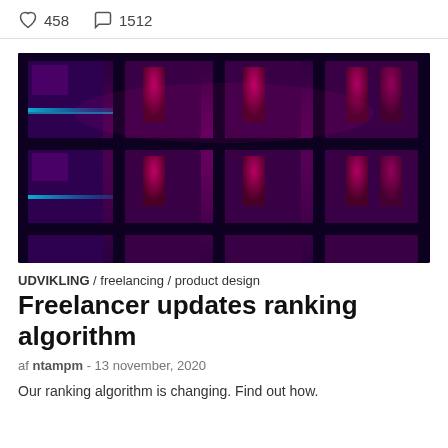458  1512
[Figure (photo): Close-up macro photo of keyboard keys with dramatic red and blue/purple lighting, dark background, showing multiple cylindrical keycaps in a grid pattern]
UDVIKLING / freelancing / product design
Freelancer updates ranking algorithm
af ntampm - 13 november, 2020
Our ranking algorithm is changing. Find out how.